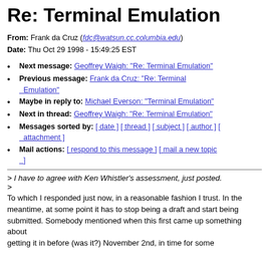Re: Terminal Emulation
From: Frank da Cruz (fdc@watsun.cc.columbia.edu)
Date: Thu Oct 29 1998 - 15:49:25 EST
Next message: Geoffrey Waigh: "Re: Terminal Emulation"
Previous message: Frank da Cruz: "Re: Terminal Emulation"
Maybe in reply to: Michael Everson: "Terminal Emulation"
Next in thread: Geoffrey Waigh: "Re: Terminal Emulation"
Messages sorted by: [ date ] [ thread ] [ subject ] [ author ] [ attachment ]
Mail actions: [ respond to this message ] [ mail a new topic ]
> I have to agree with Ken Whistler's assessment, just posted.
>
To which I responded just now, in a reasonable fashion I trust. In the
meantime, at some point it has to stop being a draft and start being
submitted. Somebody mentioned when this first came up something about
getting it in before (was it?) November 2nd, in time for some